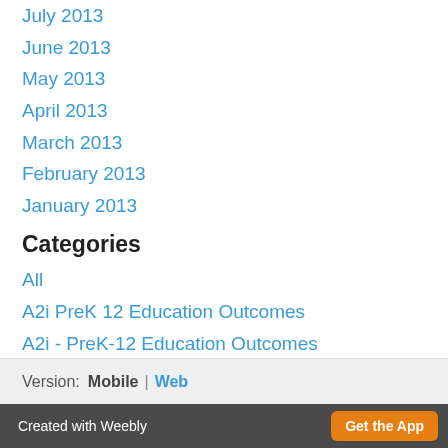July 2013
June 2013
May 2013
April 2013
March 2013
February 2013
January 2013
Categories
All
A2i PreK 12 Education Outcomes
A2i - PreK-12 Education Outcomes
Community Outcomes
Educational Outcomes
Tools
RSS Feed
Version:  Mobile  |  Web
Created with Weebly  Get the App